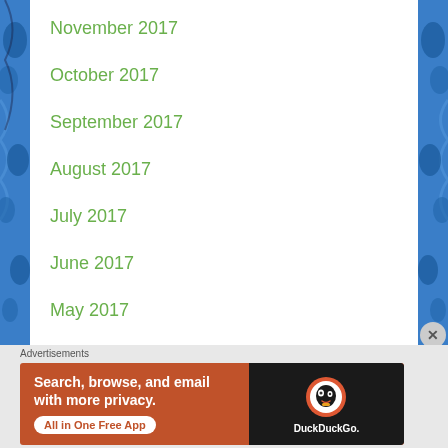November 2017
October 2017
September 2017
August 2017
July 2017
June 2017
May 2017
April 2017
Advertisements
[Figure (screenshot): DuckDuckGo advertisement banner on orange background with phone graphic. Text: Search, browse, and email with more privacy. All in One Free App. DuckDuckGo.]